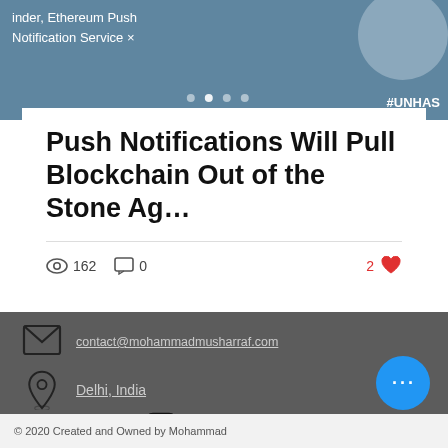[Figure (screenshot): Top banner with blue-grey background showing partial text 'under, Ethereum Push Notification Service' and hashtag '#UNHAS' in bottom right corner, with circular profile image crop and navigation dots]
Push Notifications Will Pull Blockchain Out of the Stone Ag…
162 views  0 comments  2 likes
contact@mohammadmusharraf.com
Delhi, India
[Figure (infographic): Social media icons row: LinkedIn, Medium, Instagram, Twitter]
© 2020 Created and Owned by Mohammad Musharraf